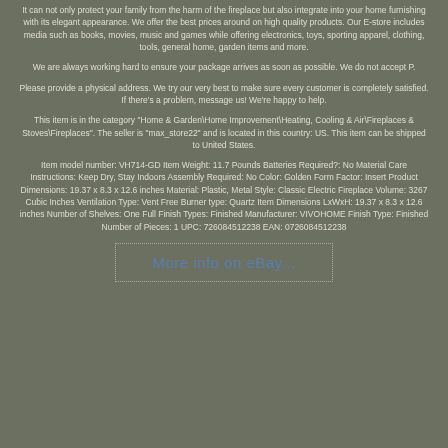It can not only protect your family from the harm of the fireplace but also integrate into your home furnishing with its elegant appearance. We offer the best prices around on high quality products. Our E-store includes media such as books, movies, music and games while offering electronics, toys, sporting apparel, clothing, tools, general home, garden items and more.
We are always working hard to ensure your package arrives as soon as possible. We do not accept P.
Please provide a physical address. We try our very best to make sure every customer is completely satisfied. If there's a problem, message us! We're happy to help.
This item is in the category "Home & Garden\Home Improvement\Heating, Cooling & Air\Fireplaces & Stoves\Fireplaces". The seller is "max_store22" and is located in this country: US. This item can be shipped to United States.
Item model number: VH714-GD Item Weight: 11.7 Pounds Batteries Required?: No Material Care Instructions: Keep Dry, Stay Indoors Assembly Required: No Color: Golden Form Factor: Insert Product Dimensions: 19.37 x 8.3 x 12.6 inches Material: Plastic, Metal Style: Classic Electric Fireplace Volume: 3267 Cubic Inches Ventilation Type: Vent Free Burner type: Quartz Item Dimensions LxWxH: 19.37 x 8.3 x 12.6 inches Number of Shelves: One Full Finish Types: Finished Manufacturer: VIVOHOME Finish Type: Finished Number of Pieces: 1 UPC: 726084512238 EAN: 0726084512238
[Figure (other): Button linking to eBay with text 'More info on eBay...' in blue lettering inside a dotted border rectangle]